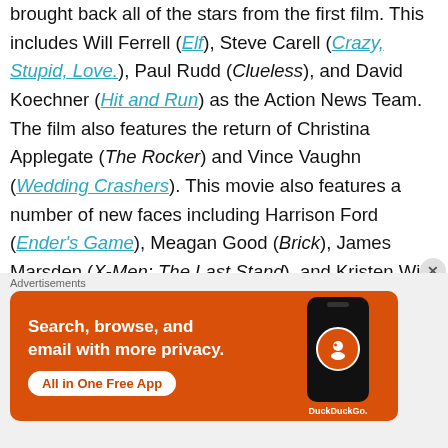brought back all of the stars from the first film. This includes Will Ferrell (Elf), Steve Carell (Crazy, Stupid, Love.), Paul Rudd (Clueless), and David Koechner (Hit and Run) as the Action News Team. The film also features the return of Christina Applegate (The Rocker) and Vince Vaughn (Wedding Crashers). This movie also features a number of new faces including Harrison Ford (Ender's Game), Meagan Good (Brick), James Marsden (X-Men: The Last Stand), and Kristen Wiig (
[Figure (other): DuckDuckGo advertisement banner: 'Search, browse, and email with more privacy. All in One Free App' with phone graphic and DuckDuckGo logo]